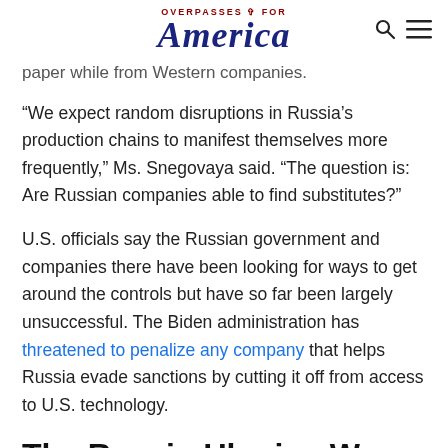OVERPASSES FOR America
paper while from Western companies.
“We expect random disruptions in Russia’s production chains to manifest themselves more frequently,” Ms. Snegovaya said. “The question is: Are Russian companies able to find substitutes?”
U.S. officials say the Russian government and companies there have been looking for ways to get around the controls but have so far been largely unsuccessful. The Biden administration has threatened to penalize any company that helps Russia evade sanctions by cutting it off from access to U.S. technology.
The Russia-Ukraine War and the